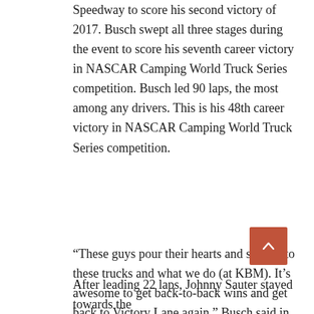Speedway to score his second victory of 2017. Busch swept all three stages during the event to score his seventh career victory in NASCAR Camping World Truck Series competition. Busch led 90 laps, the most among any drivers. This is his 48th career victory in NASCAR Camping World Truck Series competition.
“These guys pour their hearts and souls into these trucks and what we do (at KBM). It’s awesome to get back-to-back wins and get back to Victory Lane again,” Busch said in Victory Lane. “This is a true testament to everybody at Kyle Busch Motorsports. We’re all working as a cohesive group and the guys are doing a great job. It was challenging there in the middle section of the race – I didn’t know what was going on half the time. I’m proud of the whole team effort.”
After leading 22 laps, Johnny Sauter stayed towards the